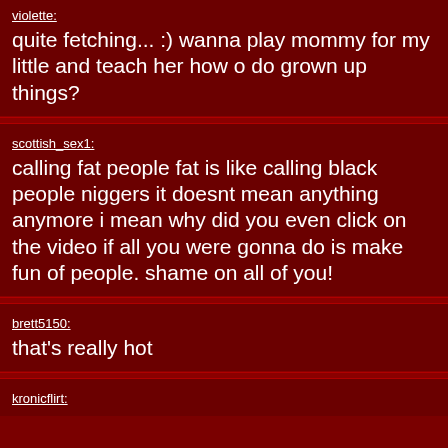violette: quite fetching... :) wanna play mommy for my little and teach her how o do grown up things?
scottish_sex1: calling fat people fat is like calling black people niggers it doesnt mean anything anymore i mean why did you even click on the video if all you were gonna do is make fun of people. shame on all of you!
brett5150: that's really hot
kronicflirt: